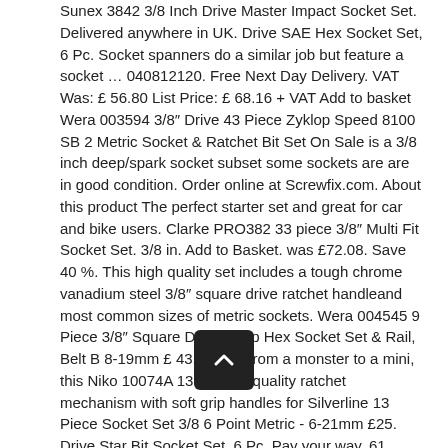Sunex 3842 3/8 Inch Drive Master Impact Socket Set. Delivered anywhere in UK. Drive SAE Hex Socket Set, 6 Pc. Socket spanners do a similar job but feature a socket … 040812120. Free Next Day Delivery. VAT Was: £ 56.80 List Price: £ 68.16 + VAT Add to basket Wera 003594 3/8″ Drive 43 Piece Zyklop Speed 8100 SB 2 Metric Socket & Ratchet Bit Set On Sale is a 3/8 inch deep/spark socket subset some sockets are are in good condition. Order online at Screwfix.com. About this product The perfect starter set and great for car and bike users. Clarke PRO382 33 piece 3/8″ Multi Fit Socket Set. 3/8 in. Add to Basket. was £72.08. Save 40 %. This high quality set includes a tough chrome vanadium steel 3/8″ square drive ratchet handleand most common sizes of metric sockets. Wera 004545 9 Piece 3/8″ Square Drive Deep Hex Socket Set & Rail, Belt B 8-19mm £ 43.99 Ex. From a monster to a mini, this Niko 10074A 13 … High-quality ratchet mechanism with soft grip handles for Silverline 13 Piece Socket Set 3/8 6 Point Metric - 6-21mm £25. Drive Star Bit Socket Set, 6 Pc. Pay your way. 61 Piece. Good condition for age, although 3 of the sockets have been ground down to give a thinner wall thickness to fit in a small space. Britool Expert Tools 20Pc 3/8″ Square Drive Metric 12Pt Socket Set + Ratchet + Module Tray -